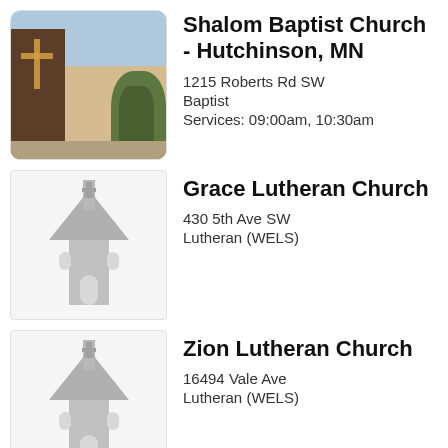[Figure (photo): Photo of Shalom Baptist Church building exterior with cross visible]
Shalom Baptist Church - Hutchinson, MN
1215 Roberts Rd SW
Baptist
Services: 09:00am, 10:30am
[Figure (illustration): Gray church icon illustration]
Grace Lutheran Church
430 5th Ave SW
Lutheran (WELS)
[Figure (illustration): Gray church icon illustration]
Zion Lutheran Church
16494 Vale Ave
Lutheran (WELS)
[Figure (illustration): Gray church icon illustration]
Immanuel Lutheran Church
20882 Walden Ave
Lutheran (WELS)